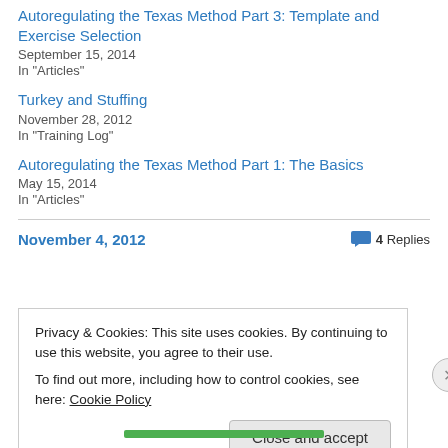Autoregulating the Texas Method Part 3: Template and Exercise Selection
September 15, 2014
In "Articles"
Turkey and Stuffing
November 28, 2012
In "Training Log"
Autoregulating the Texas Method Part 1: The Basics
May 15, 2014
In "Articles"
November 4, 2012    4 Replies
Privacy & Cookies: This site uses cookies. By continuing to use this website, you agree to their use.
To find out more, including how to control cookies, see here: Cookie Policy
Close and accept